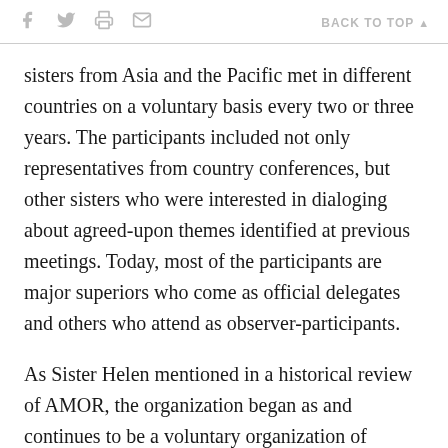f  [twitter]  [print]  [email]   BACK TO TOP ▲
sisters from Asia and the Pacific met in different countries on a voluntary basis every two or three years. The participants included not only representatives from country conferences, but other sisters who were interested in dialoging about agreed-upon themes identified at previous meetings. Today, most of the participants are major superiors who come as official delegates and others who attend as observer-participants.
As Sister Helen mentioned in a historical review of AMOR, the organization began as and continues to be a voluntary organization of women. However, this time, because Myanmar's conference for religious is